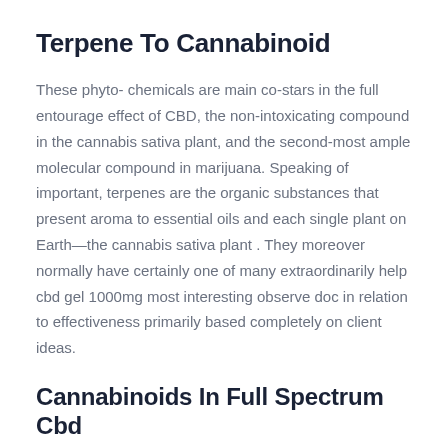Terpene To Cannabinoid
These phyto- chemicals are main co-stars in the full entourage effect of CBD, the non-intoxicating compound in the cannabis sativa plant, and the second-most ample molecular compound in marijuana. Speaking of important, terpenes are the organic substances that present aroma to essential oils and each single plant on Earth—the cannabis sativa plant . They moreover normally have certainly one of many extraordinarily help cbd gel 1000mg most interesting observe doc in relation to effectiveness primarily based completely on client ideas.
Cannabinoids In Full Spectrum Cbd
Studies discovered that when individuals hooked on